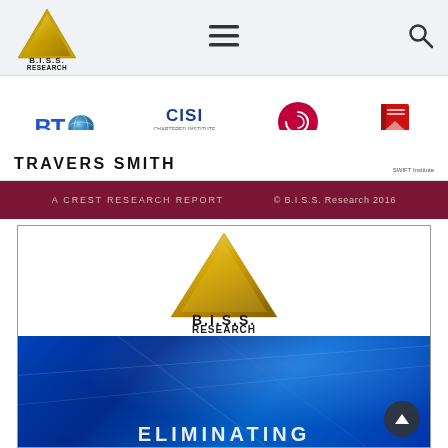[Figure (logo): B.I.S.S. Research Ltd logo in navigation bar — gold triangle above company name]
[Figure (illustration): Navigation bar with hamburger menu icon and search icon on light grey background]
[Figure (logo): Logos strip showing: BT logo, CISI (Chartered Institute for Securities & Investment) logo, Euroclear 'post-trade made easy' logo, red book logo, TRAVERS SMITH wordmark, SWIFT Institute logo]
A CREST RESEARCH REPORT   © B.I.S.S. Research 2016
[Figure (logo): B.I.S.S. Research Ltd large gold triangle logo centered in white box]
[Figure (illustration): Blue gradient background section at bottom of page with partial white bold text starting to appear at the bottom edge]